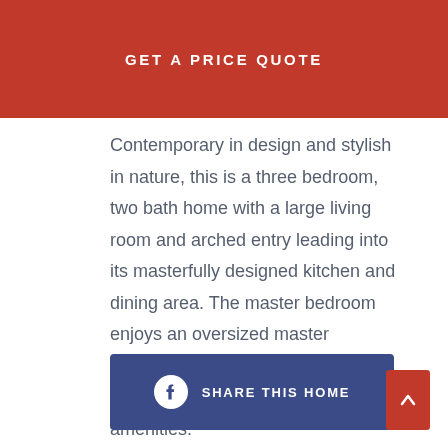GET A PRICE QUOTE
Contemporary in design and stylish in nature, this is a three bedroom, two bath home with a large living room and arched entry leading into its masterfully designed kitchen and dining area. The master bedroom enjoys an oversized master bathroom that’s been thoughtfully designed and finished with modern amenities.
[Figure (other): Facebook share button with icon and text SHARE THIS HOME in blue background]
[Figure (other): Red scroll-to-top button with up arrow]